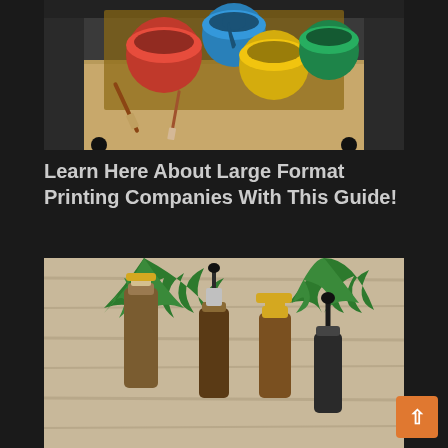[Figure (photo): Large format industrial printer with colorful paint cans (blue, red, yellow, green) and paintbrushes on a printed canvas]
Learn Here About Large Format Printing Companies With This Guide!
[Figure (photo): CBD oil bottles with dropper caps and cannabis leaves arranged on a wooden surface]